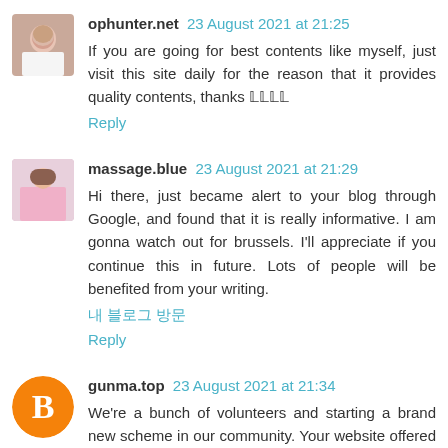[Figure (photo): Avatar photo of ophunter.net commenter - woman with hand near face]
ophunter.net 23 August 2021 at 21:25
If you are going for best contents like myself, just visit this site daily for the reason that it provides quality contents, thanks 𝕃𝕃𝕃𝕃
Reply
[Figure (photo): Avatar photo of massage.blue commenter - woman in colorful outfit]
massage.blue 23 August 2021 at 21:29
Hi there, just became alert to your blog through Google, and found that it is really informative. I am gonna watch out for brussels. I'll appreciate if you continue this in future. Lots of people will be benefited from your writing.
내 블로그 방문
Reply
[Figure (logo): Blogger B logo orange circle for gunma.top commenter]
gunma.top 23 August 2021 at 21:34
We're a bunch of volunteers and starting a brand new scheme in our community. Your website offered us with